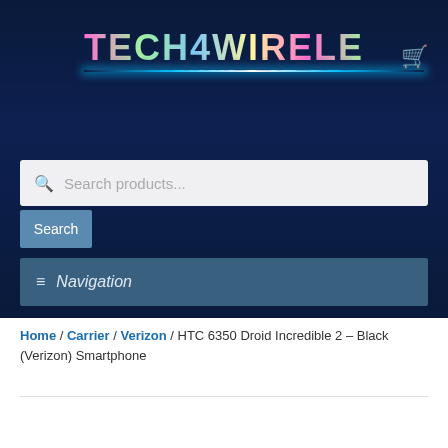[Figure (logo): TECH4WIRELESS logo with colorful gradient text and glow line reflection on dark navy background]
Search products...
Search
≡ Navigation
Home / Carrier / Verizon / HTC 6350 Droid Incredible 2 – Black (Verizon) Smartphone